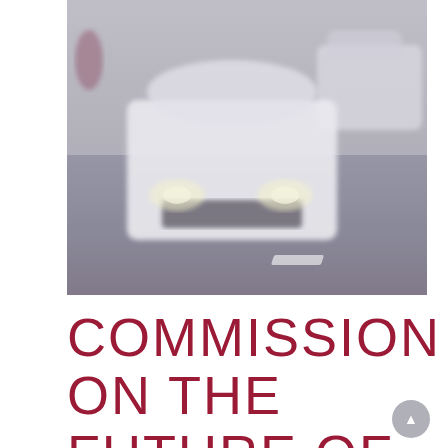[Figure (photo): Blurred photo of a white car (SUV/minivan) driving toward the camera on a road, with another white vehicle visible to the right and a pedestrian partially visible on the left. The image is taken from a low angle showing the front headlights and road surface.]
COMMISSION ON THE FUTURE OF